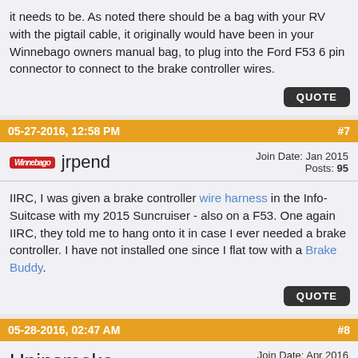it needs to be. As noted there should be a bag with your RV with the pigtail cable, it originally would have been in your Winnebago owners manual bag, to plug into the Ford F53 6 pin connector to connect to the brake controller wires.
QUOTE
05-27-2016, 12:58 PM  #7
jrpend  Join Date: Jan 2015  Posts: 95
IIRC, I was given a brake controller wire harness in the Info-Suitcase with my 2015 Suncruiser - also on a F53. One again IIRC, they told me to hang onto it in case I ever needed a brake controller. I have not installed one since I flat tow with a Brake Buddy.
QUOTE
05-28-2016, 02:47 AM  #8
Upinsmoke  Join Date: Apr 2016  Posts: 228
Yes, I also have the factory harness connector but for dependability